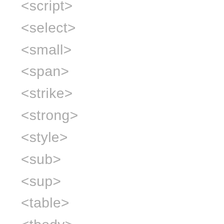<script>
<select>
<small>
<span>
<strike>
<strong>
<style>
<sub>
<sup>
<table>
<tbody>
<td>